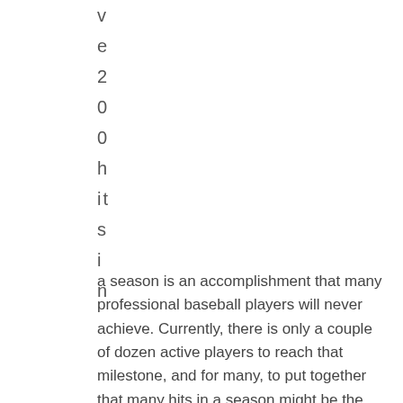v
e
2
0
0
h
it
s
i
n
a season is an accomplishment that many professional baseball players will never achieve. Currently, there is only a couple of dozen active players to reach that milestone, and for many, to put together that many hits in a season might be the greatest season of a player's career. To achieve multiple seasons above the 200-hit mark is pretty much resume material for the Hall of Fame. With that being said, Wednesday, the Seattle Mariners' center fielder Ichiro Suzuki all but guaranteed